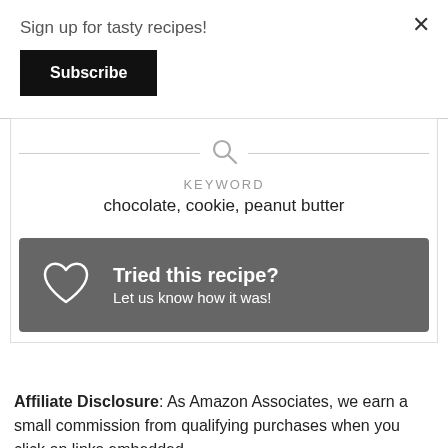Sign up for tasty recipes!
Subscribe
×
KEYWORD
chocolate, cookie, peanut butter
[Figure (infographic): Dark grey rounded banner with a white heart outline icon on the left and text 'Tried this recipe? Let us know how it was!' on the right.]
Affiliate Disclosure: As Amazon Associates, we earn a small commission from qualifying purchases when you click on links embedded